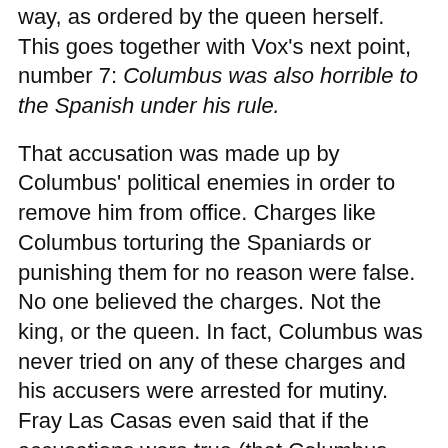way, as ordered by the queen herself. This goes together with Vox's next point, number 7: Columbus was also horrible to the Spanish under his rule.
That accusation was made up by Columbus' political enemies in order to remove him from office. Charges like Columbus torturing the Spaniards or punishing them for no reason were false. No one believed the charges. Not the king, or the queen. In fact, Columbus was never tried on any of these charges and his accusers were arrested for mutiny. Fray Las Casas even said that if the accusations were true (that Columbus was mistreating the Spaniards) they deserved those punishments since they were the ones mistreating the natives instead. Not the other way around. Primary source: Historia de las Indias by Las Casas, Tomo II, Libro I, Capitulo CLXXXIII, pp. 513-514.